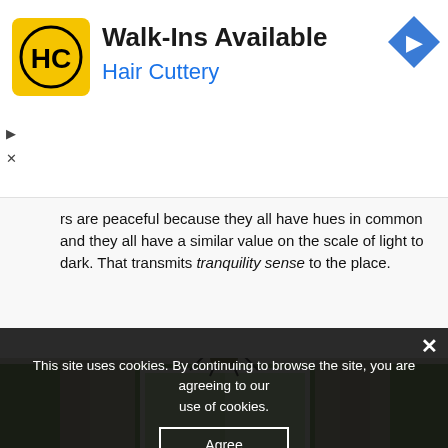[Figure (other): Hair Cuttery advertisement banner with yellow/black HC logo, text 'Walk-Ins Available' and 'Hair Cuttery', blue navigation arrow icon, and play/close controls on left side]
rs are peaceful because they all have hues in common and they all have a similar value on the scale of light to dark. That transmits tranquility sense to the place.
[Figure (photo): Interior room photo showing a dining/living room with green walls, white beadboard ceiling, chandelier, patterned curtains, plates on wall, and windows looking out to greenery]
This site uses cookies. By continuing to browse the site, you are agreeing to our use of cookies.
Agree